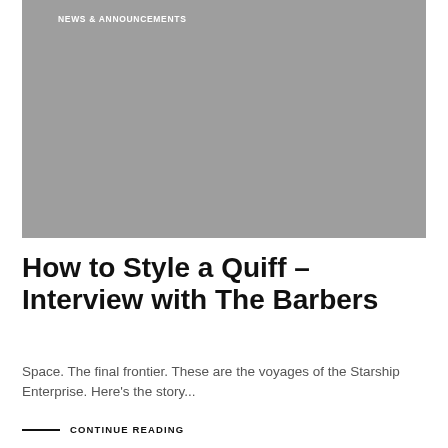[Figure (photo): Gray placeholder image with 'NEWS & ANNOUNCEMENTS' label in white text at top left]
How to Style a Quiff – Interview with The Barbers
Space. The final frontier. These are the voyages of the Starship Enterprise. Here's the story...
CONTINUE READING